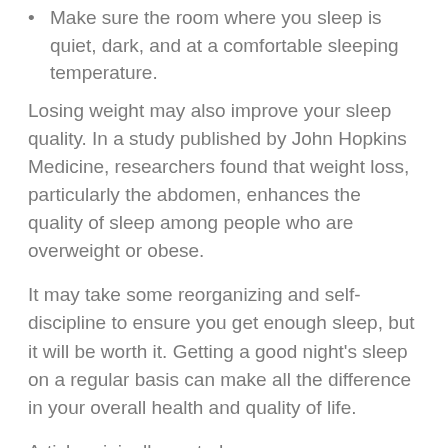Make sure the room where you sleep is quiet, dark, and at a comfortable sleeping temperature.
Losing weight may also improve your sleep quality. In a study published by John Hopkins Medicine, researchers found that weight loss, particularly the abdomen, enhances the quality of sleep among people who are overweight or obese.
It may take some reorganizing and self-discipline to ensure you get enough sleep, but it will be worth it. Getting a good night's sleep on a regular basis can make all the difference in your overall health and quality of life.
Article originally posted on www.insuranceneighbor.com